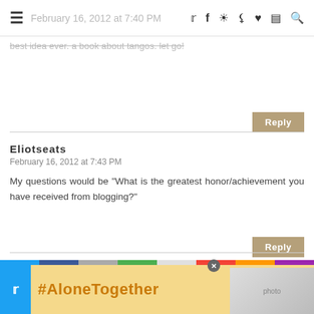February 16, 2012 at 7:40 PM [nav bar with hamburger menu and social icons]
best idea ever. a book about tangos. let go!
Reply
Eliotseats
February 16, 2012 at 7:43 PM
My questions would be "What is the greatest honor/achievement you have received from blogging?"
Reply
joythebaker
February 16, 2012 at 7:46 PM
#AloneTogether